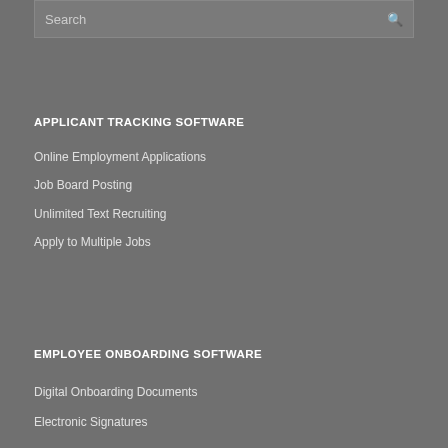Search
APPLICANT TRACKING SOFTWARE
Online Employment Applications
Job Board Posting
Unlimited Text Recruiting
Apply to Multiple Jobs
EMPLOYEE ONBOARDING SOFTWARE
Digital Onboarding Documents
Electronic Signatures